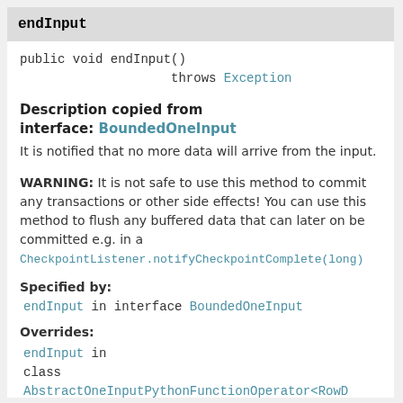endInput
public void endInput()
                throws Exception
Description copied from interface: BoundedOneInput
It is notified that no more data will arrive from the input.
WARNING: It is not safe to use this method to commit any transactions or other side effects! You can use this method to flush any buffered data that can later on be committed e.g. in a CheckpointListener.notifyCheckpointComplete(long)
Specified by:
endInput in interface BoundedOneInput
Overrides:
endInput in class AbstractOneInputPythonFunctionOperator<RowD